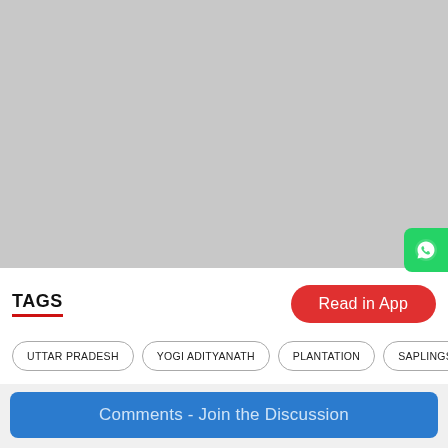[Figure (photo): Gray placeholder image area at the top of the page]
TAGS
Read in App
UTTAR PRADESH
YOGI ADITYANATH
PLANTATION
SAPLINGS
Comments - Join the Discussion